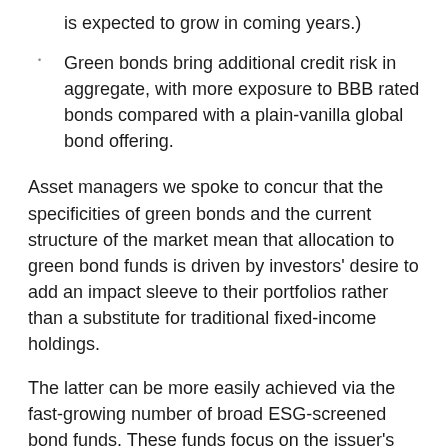is expected to grow in coming years.)
Green bonds bring additional credit risk in aggregate, with more exposure to BBB rated bonds compared with a plain-vanilla global bond offering.
Asset managers we spoke to concur that the specificities of green bonds and the current structure of the market mean that allocation to green bond funds is driven by investors' desire to add an impact sleeve to their portfolios rather than a substitute for traditional fixed-income holdings.
The latter can be more easily achieved via the fast-growing number of broad ESG-screened bond funds. These funds focus on the issuer's ESG credentials rather than on whether the bonds are used to finance green projects and typically have similar risk/reward